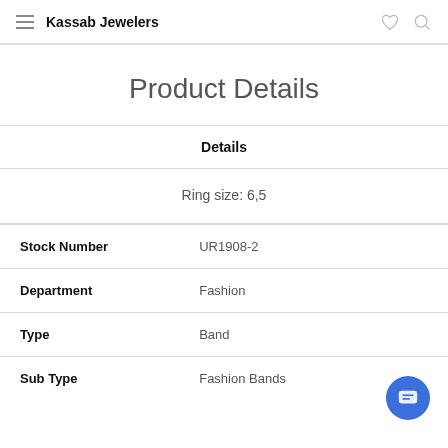Kassab Jewelers
Product Details
Details
Ring size: 6,5
|  |  |
| --- | --- |
| Stock Number | UR1908-2 |
| Department | Fashion |
| Type | Band |
| Sub Type | Fashion Bands |